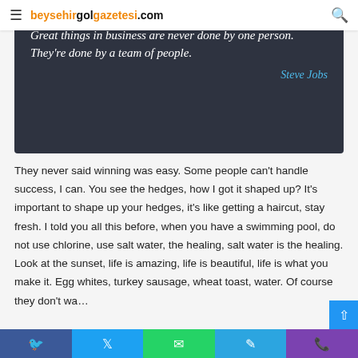beysehirgolgazetesi.com
[Figure (other): Dark quote block with italic white text and blue author attribution: 'Great things in business are never done by one person. They're done by a team of people.' — Steve Jobs]
They never said winning was easy. Some people can't handle success, I can. You see the hedges, how I got it shaped up? It's important to shape up your hedges, it's like getting a haircut, stay fresh. I told you all this before, when you have a swimming pool, do not use chlorine, use salt water, the healing, salt water is the healing. Look at the sunset, life is amazing, life is beautiful, life is what you make it. Egg whites, turkey sausage, wheat toast, water. Of course they don't wa… us to eat our breakfast, so we are going to enjoy our
Facebook | Twitter | WhatsApp | Telegram | Phone